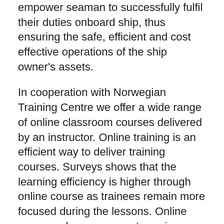empower seaman to successfully fulfil their duties onboard ship, thus ensuring the safe, efficient and cost effective operations of the ship owner's assets.
In cooperation with Norwegian Training Centre we offer a wide range of online classroom courses delivered by an instructor. Online training is an efficient way to deliver training courses. Surveys shows that the learning efficiency is higher through online course as trainees remain more focused during the lessons. Online courses also means costs savings as the participants do not have to travel to attend the courses hence travel and lodging costs are saved. The seafarers have welcomed the courses as they save them for the travel time and they do not need to stay away from their families during their home-period.
Today's vessel operations are more sophisticated than they were in previous years: Crews are required to master new technologies and an ever-expanding rule regime. Also, environmental issues, budget constraints and increase have impacted operations.